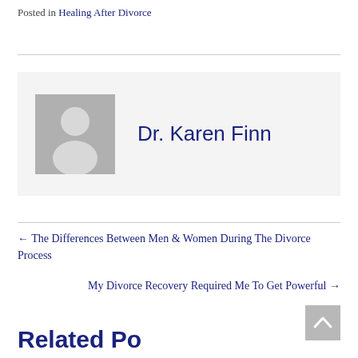Posted in Healing After Divorce
[Figure (photo): Author avatar placeholder with generic person silhouette on grey background, next to the name Dr. Karen Finn]
← The Differences Between Men & Women During The Divorce Process
My Divorce Recovery Required Me To Get Powerful →
Related Posts